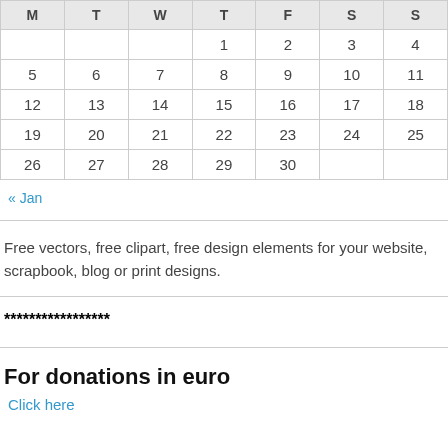| M | T | W | T | F | S | S |
| --- | --- | --- | --- | --- | --- | --- |
|  |  |  | 1 | 2 | 3 | 4 |
| 5 | 6 | 7 | 8 | 9 | 10 | 11 |
| 12 | 13 | 14 | 15 | 16 | 17 | 18 |
| 19 | 20 | 21 | 22 | 23 | 24 | 25 |
| 26 | 27 | 28 | 29 | 30 |  |  |
« Jan
Free vectors, free clipart, free design elements for your website, scrapbook, blog or print designs.
*****************
For donations in euro
Click here